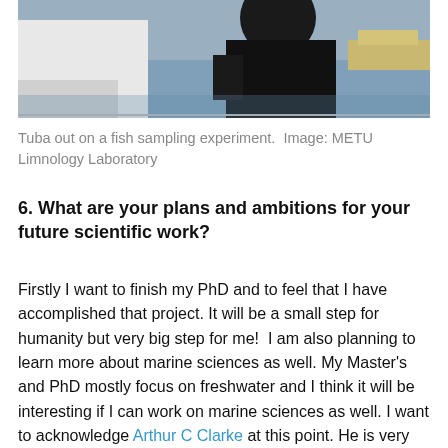[Figure (photo): Photo of Tuba out on a fish sampling experiment on a boat, wearing dark clothing, with water visible in the background.]
Tuba out on a fish sampling experiment.  Image: METU Limnology Laboratory
6. What are your plans and ambitions for your future scientific work?
Firstly I want to finish my PhD and to feel that I have accomplished that project. It will be a small step for humanity but very big step for me!  I am also planning to learn more about marine sciences as well. My Master's and PhD mostly focus on freshwater and I think it will be interesting if I can work on marine sciences as well. I want to acknowledge Arthur C Clarke at this point. He is very inspiring to me, and he said “How inappropriate to call this